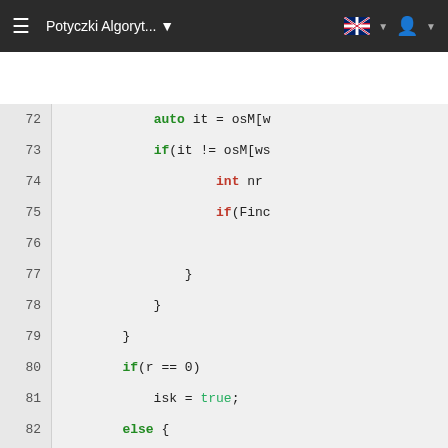≡  Potyczki Algoryt...  ▾  [flag] ▾  [user] ▾
[Figure (screenshot): Code editor showing C++ source code lines 72-93, part of an algorithmic programming contest solution. Lines include keywords auto, if, int, else, bool values like true, and variable names like osM, osN, wskN, isk. The code is syntax-highlighted with bold green for keywords (auto, if, else, int), red for member variable keywords (int, auto), and green for boolean true.]